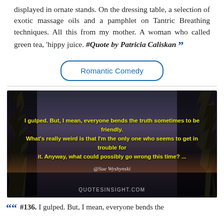displayed in ornate stands. On the dressing table, a selection of exotic massage oils and a pamphlet on Tantric Breathing techniques. All this from my mother. A woman who called green tea, 'hippy juice. #Quote by Patricia Caliskan ""
Romantic Comedy
[Figure (photo): Dark atmospheric landscape photo with silhouetted trees against a twilight sky. Yellow bold text reads: 'I gulped. But, I mean, everyone bends the truth sometimes to be friendly. What's really weird is that I'm the only one who seems to get in trouble for it. Anyway, what could possibly go wrong this time? ...' with '@Sue Wyshynski' below and 'QUOTESINSIGHT.COM' at the bottom.]
““ #136. I gulped. But, I mean, everyone bends the